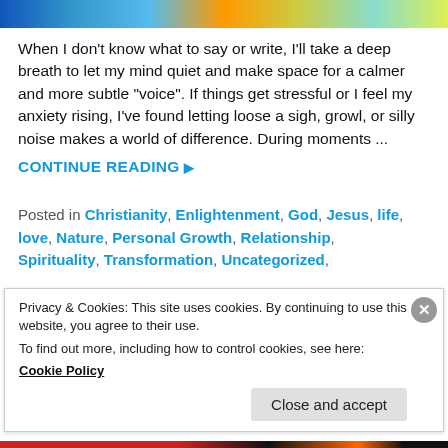[Figure (photo): Colorful header image with blue, orange, and yellow tones]
When I don't know what to say or write, I'll take a deep breath to let my mind quiet and make space for a calmer and more subtle "voice". If things get stressful or I feel my anxiety rising, I've found letting loose a sigh, growl, or silly noise makes a world of difference. During moments ...
CONTINUE READING ▶
Posted in Christianity, Enlightenment, God, Jesus, life, love, Nature, Personal Growth, Relationship, Spirituality, Transformation, Uncategorized,
Privacy & Cookies: This site uses cookies. By continuing to use this website, you agree to their use.
To find out more, including how to control cookies, see here:
Cookie Policy
Close and accept